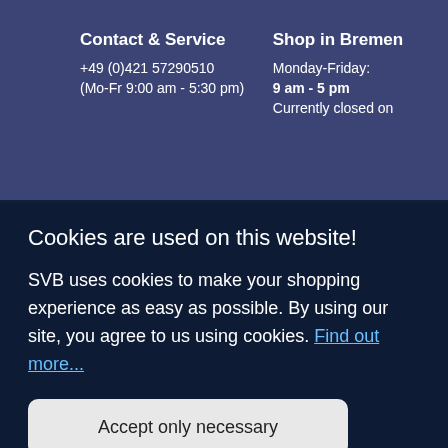Contact & Service
+49 (0)421 57290510
(Mo-Fr 9:00 am - 5:30 pm)
Shop in Bremen
Monday-Friday:
9 am - 5 pm
Currently closed on
Cookies are used on this website!
SVB uses cookies to make your shopping experience as easy as possible. By using our site, you agree to us using cookies. Find out more...
Accept only necessary
Accept